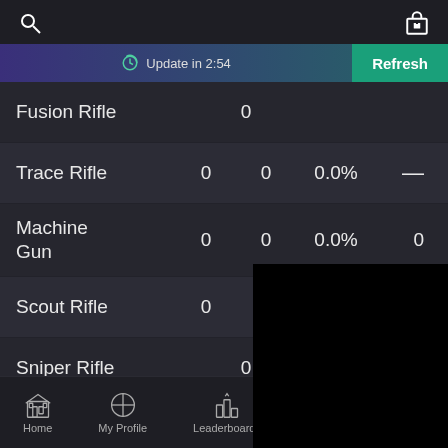Search | Gift
Update in 2:54 | Refresh
| Weapon | Val1 | Val2 | Pct | Val3 |
| --- | --- | --- | --- | --- |
| Fusion Rifle | 0 |  |  |  |
| Trace Rifle | 0 | 0 | 0.0% | — |
| Machine Gun | 0 | 0 | 0.0% | 0 |
| Scout Rifle | 0 | 0 | 0.0% |  |
| Sniper Rifle | 0 |  |  |  |
| Relics | 0 |  |  |  |
Home | My Profile | Leaderboards | Database | More